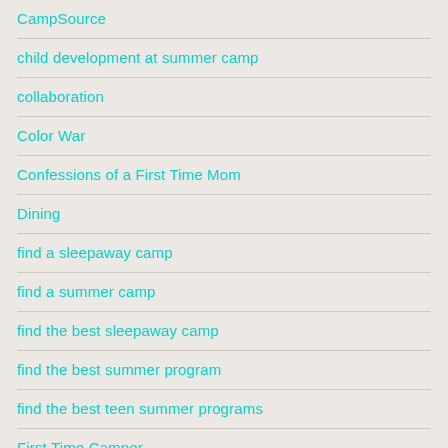CampSource
child development at summer camp
collaboration
Color War
Confessions of a First Time Mom
Dining
find a sleepaway camp
find a summer camp
find the best sleepaway camp
find the best summer program
find the best teen summer programs
First Time Camper